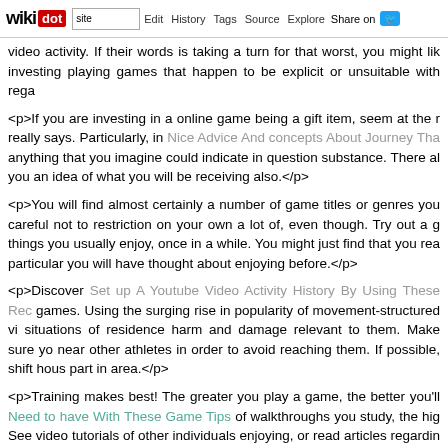wikidot | site | Edit | History | Tags | Source | Explore | Share on [Twitter]
video activity. If their words is taking a turn for that worst, you might lik investing playing games that happen to be explicit or unsuitable with rega
<p>If you are investing in a online game being a gift item, seem at the r really says. Particularly, in Nice Advice And concepts About Journey Tha anything that you imagine could indicate in question substance. There al you an idea of what you will be receiving also.</p>
<p>You will find almost certainly a number of game titles or genres you careful not to restriction on your own a lot of, even though. Try out a g things you usually enjoy, once in a while. You might just find that you rea particular you will have thought about enjoying before.</p>
<p>Discover Set up A Youtube Video Activity History By Using These Rec games. Using the surging rise in popularity of movement-structured vi situations of residence harm and damage relevant to them. Make sure yo near other athletes in order to avoid reaching them. If possible, shift hous part in area.</p>
<p>Training makes best! The greater you play a game, the better you'll Need to have With These Game Tips of walkthroughs you study, the hig See video tutorials of other individuals enjoying, or read articles regardin quickly grasp games with very little hard work and disappointment.</p>
<p>If you possess the option of saving, try to conserve as often as is po but this is probably not repeated adequate that you can sustain your deta you are conserving, to lessen shedding the place you are at.</p>
<p>Check out Ways To Get Help With Xbox Game Dependency from the